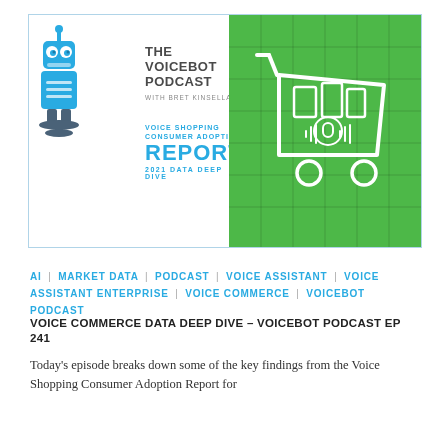[Figure (illustration): The Voicebot Podcast banner with robot mascot on left white panel and shopping cart illustration on right green panel. Text reads: THE VOICEBOT PODCAST WITH BRET KINSELLA, VOICE SHOPPING CONSUMER ADOPTION REPORT 2021 DATA DEEP DIVE.]
AI | MARKET DATA | PODCAST | VOICE ASSISTANT | VOICE ASSISTANT ENTERPRISE | VOICE COMMERCE | VOICEBOT PODCAST
VOICE COMMERCE DATA DEEP DIVE – VOICEBOT PODCAST EP 241
Today's episode breaks down some of the key findings from the Voice Shopping Consumer Adoption Report for